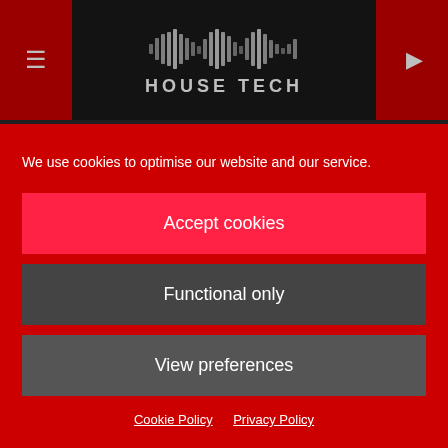HOUSE TECH
FEATURED   NEWS
NEW VERSION OF LOVE
We use cookies to optimise our website and our service.
Accept cookies
Functional only
View preferences
Cookie Policy   Privacy Policy